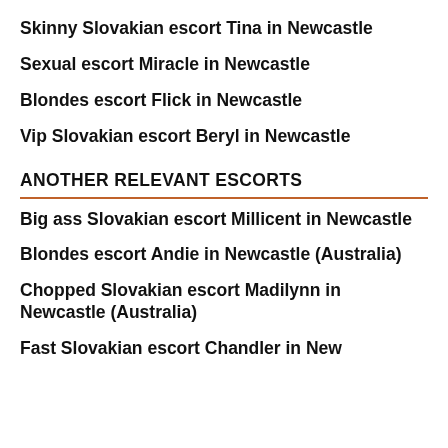Skinny Slovakian escort Tina in Newcastle
Sexual escort Miracle in Newcastle
Blondes escort Flick in Newcastle
Vip Slovakian escort Beryl in Newcastle
ANOTHER RELEVANT ESCORTS
Big ass Slovakian escort Millicent in Newcastle
Blondes escort Andie in Newcastle (Australia)
Chopped Slovakian escort Madilynn in Newcastle (Australia)
Fast Slovakian escort Chandler in Newcastle